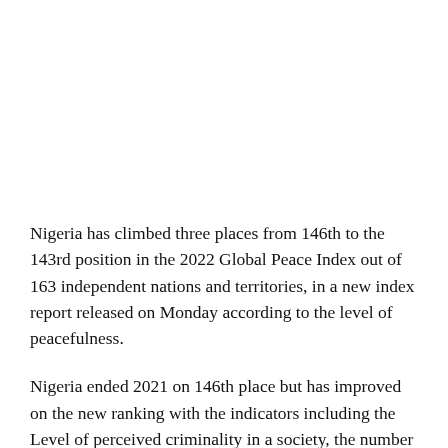Nigeria has climbed three places from 146th to the 143rd position in the 2022 Global Peace Index out of 163 independent nations and territories, in a new index report released on Monday according to the level of peacefulness.
Nigeria ended 2021 on 146th place but has improved on the new ranking with the indicators including the Level of perceived criminality in a society, the number of internal security officers and police per 100,000 people